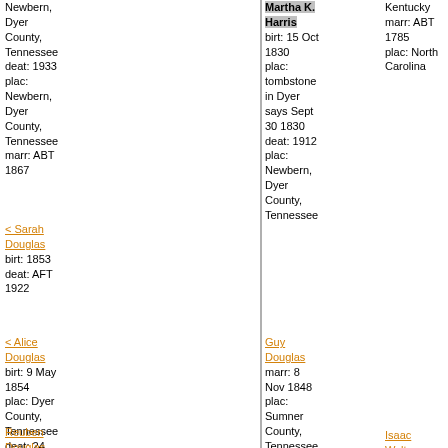Newbern, Dyer County, Tennessee deat: 1933 plac: Newbern, Dyer County, Tennessee marr: ABT 1867
Martha K. Harris birt: 15 Oct 1830 plac: tombstone in Dyer says Sept 30 1830 deat: 1912 plac: Newbern, Dyer County, Tennessee
Kentucky marr: ABT 1785 plac: North Carolina
< Sarah Douglas birt: 1853 deat: AFT 1922
< Alice Douglas birt: 9 May 1854 plac: Dyer County, Tennessee deat: 24 Nov 1876 plac: New Bern, Dyer County, Tennessee marr: ABT 1872
Guy Douglas marr: 8 Nov 1848 plac: Sumner County, Tennessee birt: 25 Dec 1826 plac: Tennessee deat: 1912 plac: Newbern, Dyer County, Tennesse
Reuben Douglas birt: 20
Isaac Walton